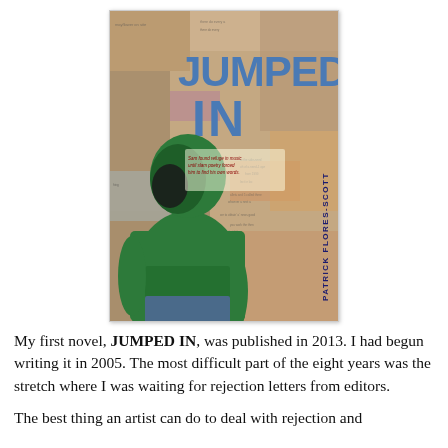[Figure (illustration): Book cover of 'JUMPED IN' by Patrick Flores-Scott. Shows a person in a green hoodie facing sideways against a collage background of torn text/newspaper. The title 'JUMPED IN' is in large blue letters. A tagline reads 'Sam found refuge in music until slam poetry forced him to find his own words.' Author name 'PATRICK FLORES-SCOTT' runs vertically on the right side.]
My first novel, JUMPED IN, was published in 2013. I had begun writing it in 2005. The most difficult part of the eight years was the stretch where I was waiting for rejection letters from editors.
The best thing an artist can do to deal with rejection and